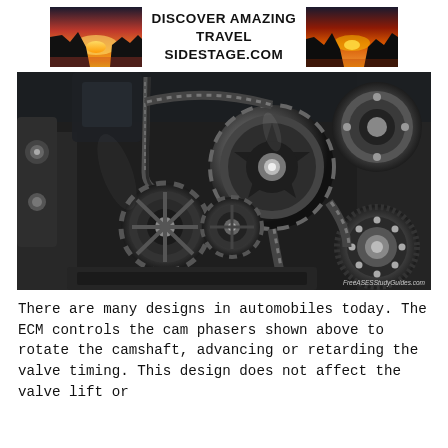[Figure (illustration): Banner advertisement with sunset/landscape photos on left and right flanking centered bold text reading DISCOVER AMAZING TRAVEL SIDESTAGE.COM]
[Figure (photo): Close-up photograph of an automobile engine showing cam phasers, timing chain, gears, sprockets, and mechanical components in black and silver tones. Watermark reads FreeASESStudyGuides.com]
There are many designs in automobiles today. The ECM controls the cam phasers shown above to rotate the camshaft, advancing or retarding the valve timing. This design does not affect the valve lift or